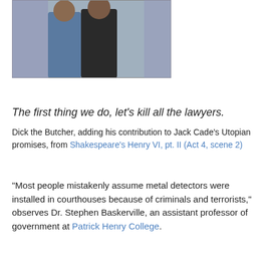[Figure (photo): Photograph of two people standing together, partially cropped at top]
The first thing we do, let's kill all the lawyers.
Dick the Butcher, adding his contribution to Jack Cade's Utopian promises, from Shakespeare's Henry VI, pt. II (Act 4, scene 2)
“Most people mistakenly assume metal detectors were installed in courthouses because of criminals and terrorists,” observes Dr. Stephen Baskerville, an assistant professor of government at Patrick Henry College.